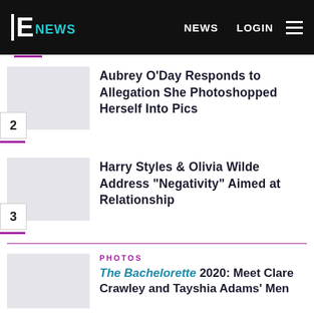E NEWS   NEWS   LOGIN
2  Aubrey O'Day Responds to Allegation She Photoshopped Herself Into Pics
3  Harry Styles & Olivia Wilde Address "Negativity" Aimed at Relationship
PHOTOS
The Bachelorette 2020: Meet Clare Crawley and Tayshia Adams' Men